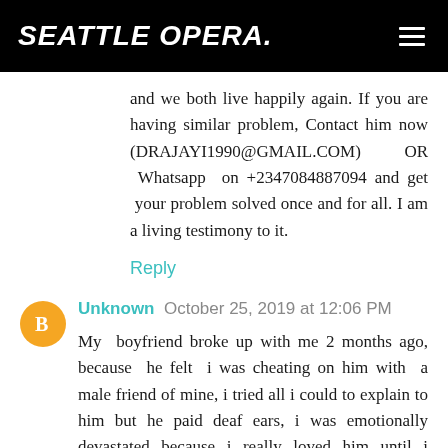SEATTLE OPERA.
and we both live happily again. If you are having similar problem, Contact him now (DRAJAYI1990@GMAIL.COM) OR Whatsapp on +2347084887094 and get your problem solved once and for all. I am a living testimony to it.
Reply
Unknown  October 25, 2019 at 12:06 PM
My boyfriend broke up with me 2 months ago, because he felt i was cheating on him with a male friend of mine, i tried all i could to explain to him but he paid deaf ears, i was emotionally devastated because i really loved him until i saw a post on the internet about DR ISIKOLO, who helps people gain back their lost lover, at